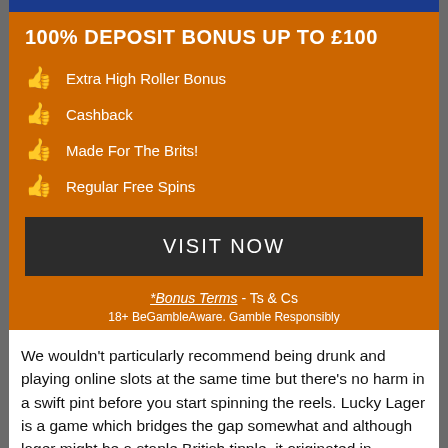100% DEPOSIT BONUS UP TO £100
Extra High Roller Bonus
Cashback
Made For The Brits!
Regular Free Spins
VISIT NOW
*Bonus Terms - Ts & Cs
18+ BeGambleAware. Gamble Responsibly
We wouldn't particularly recommend being drunk and playing online slots at the same time but there's no harm in a swift pint before you start spinning the reels. Lucky Lager is a game which bridges the gap somewhat and although lager might be a staple British tipple, it originated in Germany and that's where this game is based.
Lucky Lager is a five reel slot with three rows and up to